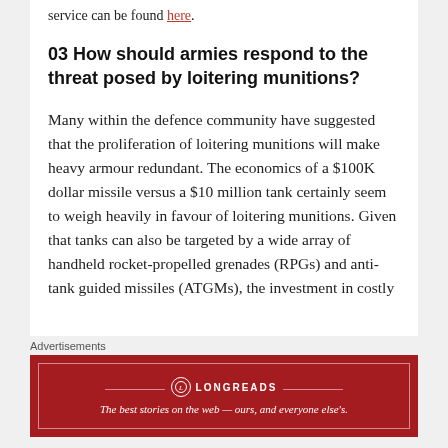service can be found here.
03 How should armies respond to the threat posed by loitering munitions?
Many within the defence community have suggested that the proliferation of loitering munitions will make heavy armour redundant. The economics of a $100K dollar missile versus a $10 million tank certainly seem to weigh heavily in favour of loitering munitions. Given that tanks can also be targeted by a wide array of handheld rocket-propelled grenades (RPGs) and anti-tank guided missiles (ATGMs), the investment in costly
Advertisements
[Figure (infographic): Longreads advertisement banner in dark red. Logo circle with L, brand name LONGREADS, tagline: The best stories on the web — ours, and everyone else's.]